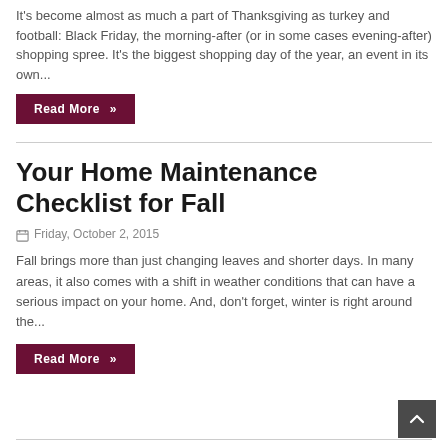It's become almost as much a part of Thanksgiving as turkey and football: Black Friday, the morning-after (or in some cases evening-after) shopping spree. It's the biggest shopping day of the year, an event in its own...
Read More »
Your Home Maintenance Checklist for Fall
Friday, October 2, 2015
Fall brings more than just changing leaves and shorter days. In many areas, it also comes with a shift in weather conditions that can have a serious impact on your home. And, don't forget, winter is right around the...
Read More »